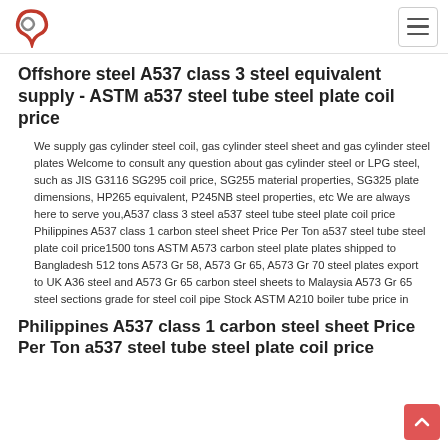Offshore steel A537 class 3 steel equivalent supply - ASTM a537 steel tube steel plate coil price
We supply gas cylinder steel coil, gas cylinder steel sheet and gas cylinder steel plates Welcome to consult any question about gas cylinder steel or LPG steel, such as JIS G3116 SG295 coil price, SG255 material properties, SG325 plate dimensions, HP265 equivalent, P245NB steel properties, etc We are always here to serve you,A537 class 3 steel a537 steel tube steel plate coil price Philippines A537 class 1 carbon steel sheet Price Per Ton a537 steel tube steel plate coil price1500 tons ASTM A573 carbon steel plate plates shipped to Bangladesh 512 tons A573 Gr 58, A573 Gr 65, A573 Gr 70 steel plates export to UK A36 steel and A573 Gr 65 carbon steel sheets to Malaysia A573 Gr 65 steel sections grade for steel coil pipe Stock ASTM A210 boiler tube price in
Philippines A537 class 1 carbon steel sheet Price Per Ton a537 steel tube steel plate coil price